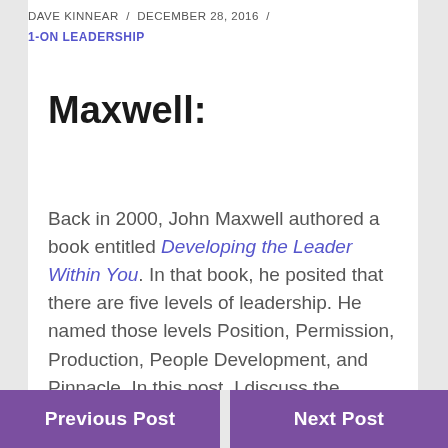DAVE KINNEAR / DECEMBER 28, 2016 / 1-ON LEADERSHIP
Maxwell:
Back in 2000, John Maxwell authored a book entitled Developing the Leader Within You. In that book, he posited that there are five levels of leadership. He named those levels Position, Permission, Production, People Development, and Pinnacle. In this post, I discuss the second of the five and we will explore the rest over the [continues]s.
Previous Post | Next Post